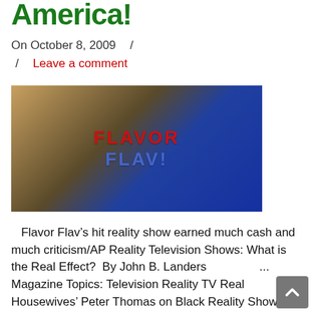America!
On October 8, 2009  /
/   Leave a comment
[Figure (photo): Photo of Flavor Flav holding a large clock/hat that reads 'FLAVOR FLAV' in red and blue letters, wearing a blue jacket and jewelry]
Flavor Flav’s hit reality show earned much cash and much criticism/AP Reality Television Shows: What is the Real Effect?  By John B. Landers                ... Magazine Topics: Television Reality TV Real Housewives’ Peter Thomas on Black Reality Shows, New Memoir